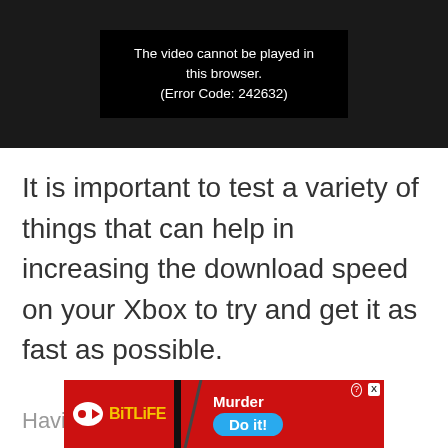[Figure (screenshot): Video player with black background showing error message: 'The video cannot be played in this browser. (Error Code: 242632)']
It is important to test a variety of things that can help in increasing the download speed on your Xbox to try and get it as fast as possible.
Havi… the
[Figure (screenshot): BitLife advertisement banner with red background, BitLife logo on left, knife slash graphic, 'Murder Do it!' text on right with close button]